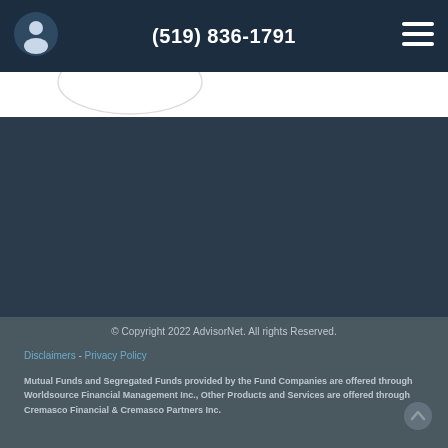(519) 836-1791
© Copyright 2022 AdvisorNet. All rights reserved.
Disclaimers - Privacy Policy
Mutual Funds and Segregated Funds provided by the Fund Companies are offered through Worldsource Financial Management Inc., Other Products and Services are offered through Cremasco Financial & Cremasco Partners Inc.